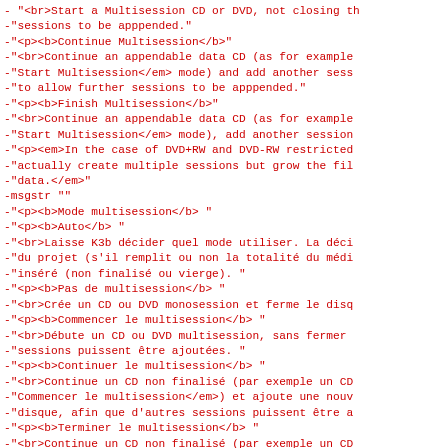- "<br>Start a Multisession CD or DVD, not closing th
-"sessions to be apppended."
-"<p><b>Continue Multisession</b>"
-"<br>Continue an appendable data CD (as for example
-"Start Multisession</em> mode) and add another sess
-"to allow further sessions to be apppended."
-"<p><b>Finish Multisession</b>"
-"<br>Continue an appendable data CD (as for example
-"Start Multisession</em> mode), add another session
-"<p><em>In the case of DVD+RW and DVD-RW restricted
-"actually create multiple sessions but grow the fil
-"data.</em>"
-msgstr ""
-"<p><b>Mode multisession</b> "
-"<p><b>Auto</b> "
-"<br>Laisse K3b décider quel mode utiliser. La déci
-"du projet (s'il remplit ou non la totalité du médi
-"inséré (non finalisé ou vierge). "
-"<p><b>Pas de multisession</b> "
-"<br>Crée un CD ou DVD monosession et ferme le disq
-"<p><b>Commencer le multisession</b> "
-"<br>Débute un CD ou DVD multisession, sans fermer
-"sessions puissent être ajoutées. "
-"<p><b>Continuer le multisession</b> "
-"<br>Continue un CD non finalisé (par exemple un CD
-"Commencer le multisession</em>) et ajoute une nouv
-"disque, afin que d'autres sessions puissent être a
-"<p><b>Terminer le multisession</b> "
-"<br>Continue un CD non finalisé (par exemple un CD
-"Commencer le multisession</em>), ajoute une sessio
-"...+RW ou le DVD-RW...